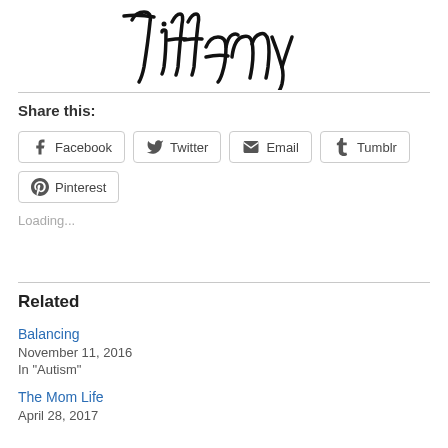[Figure (illustration): Handwritten cursive signature reading 'Tiffany' in black ink, centered at the top of the page]
Share this:
Facebook  Twitter  Email  Tumblr  Pinterest
Loading...
Related
Balancing
November 11, 2016
In "Autism"
The Mom Life
April 28, 2017